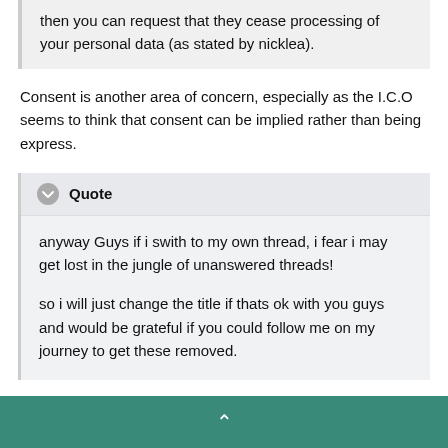then you can request that they cease processing of your personal data (as stated by nicklea).
Consent is another area of concern, especially as the I.C.O seems to think that consent can be implied rather than being express.
Quote
anyway Guys if i swith to my own thread, i fear i may get lost in the jungle of unanswered threads!

so i will just change the title if thats ok with you guys and would be grateful if you could follow me on my journey to get these removed.
I think you need one for each OC, BH - this will get mighty confusing having more than one to a thread. I know, because I tried to do that with 2 x HFC claims (thinking, "same company, so should be easy on the same thread") then site team (this was before I joined) had to split the thread
^